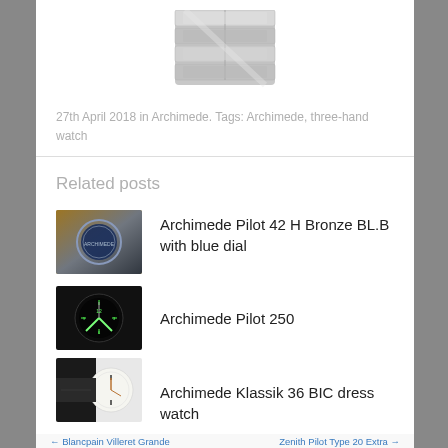[Figure (photo): Partial view of a stainless steel watch bracelet/case shown at top of page]
27th April 2018 in Archimede. Tags: Archimede, three-hand watch
Related posts
[Figure (photo): Archimede Pilot 42 H Bronze with blue dial - thumbnail showing watch with blue dial]
Archimede Pilot 42 H Bronze BL.B with blue dial
[Figure (photo): Archimede Pilot 250 - dark dial pilot watch thumbnail]
Archimede Pilot 250
[Figure (photo): Archimede Klassik 36 BIC dress watch - close-up of watch dial]
Archimede Klassik 36 BIC dress watch
← Blancpain Villeret Grande    Zenith Pilot Type 20 Extra →